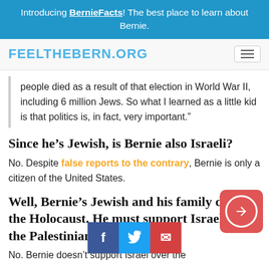Introducing BernieFacts! The best place to learn about Bernie.
FEELTHEBERN.ORG
people died as a result of that election in World War II, including 6 million Jews. So what I learned as a little kid is that politics is, in fact, very important.”
Since he’s Jewish, is Bernie also Israeli?
No. Despite false reports to the contrary, Bernie is only a citizen of the United States.
Well, Bernie’s Jewish and his family died in the Holocaust. He must support Israel over the Palestinians, right?
No. Bernie doesn’t support Israel over the